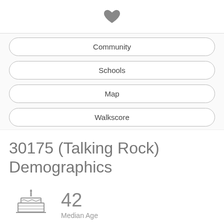[Figure (illustration): Small dark gray heart icon centered at top of page]
Community
Schools
Map
Walkscore
30175 (Talking Rock) Demographics
[Figure (illustration): Birthday cake icon with candle representing median age]
42
Median Age
[Figure (illustration): People/family icon in a rounded square representing population density]
63
Population Density (per sq. mile)